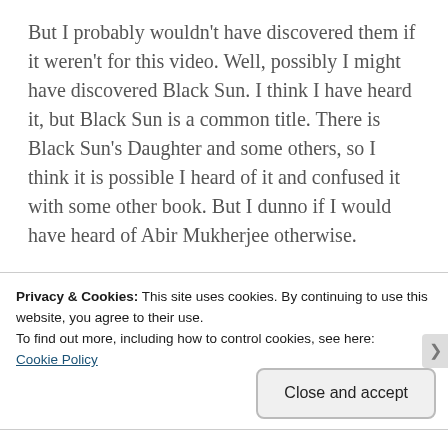But I probably wouldn't have discovered them if it weren't for this video. Well, possibly I might have discovered Black Sun. I think I have heard it, but Black Sun is a common title. There is Black Sun's Daughter and some others, so I think it is possible I heard of it and confused it with some other book. But I dunno if I would have heard of Abir Mukherjee otherwise.
So I am out of my reading slump!
I am anticipating watching the other TBR videos
Privacy & Cookies: This site uses cookies. By continuing to use this website, you agree to their use.
To find out more, including how to control cookies, see here:
Cookie Policy